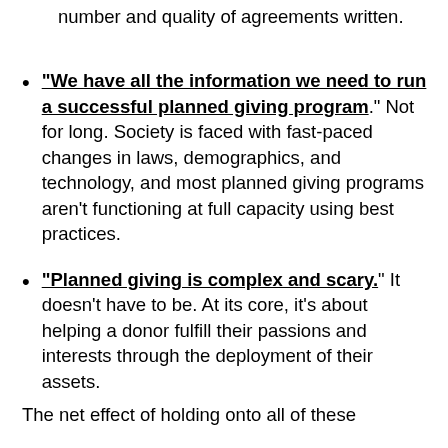number and quality of agreements written.
“We have all the information we need to run a successful planned giving program.” Not for long. Society is faced with fast-paced changes in laws, demographics, and technology, and most planned giving programs aren’t functioning at full capacity using best practices.
“Planned giving is complex and scary.” It doesn’t have to be. At its core, it’s about helping a donor fulfill their passions and interests through the deployment of their assets.
The net effect of holding onto all of these